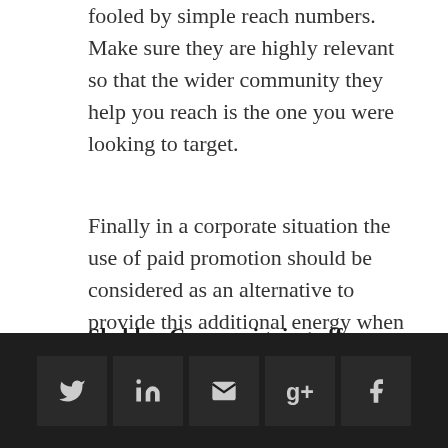fooled by simple reach numbers. Make sure they are highly relevant so that the wider community they help you reach is the one you were looking to target.
Finally in a corporate situation the use of paid promotion should be considered as an alternative to provide this additional energy when it doesn’t appear organically.
Sheldon Cooper signing off.
[Figure (other): Dark footer bar with five social media icon buttons: Twitter (bird), LinkedIn (in), Email (envelope), Google+ (g+), Facebook (f)]